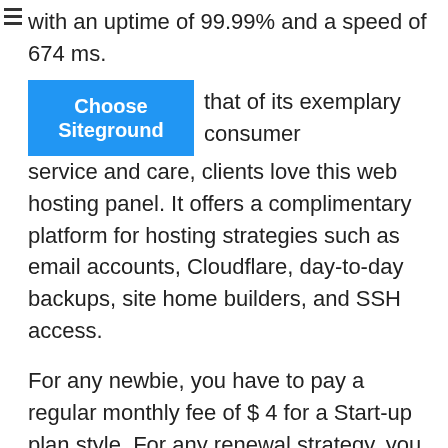with an uptime of 99.99% and a speed of 674 ms.
[Figure (other): Blue 'Choose Siteground' button]
that of its exemplary consumer service and care, clients love this web hosting panel. It offers a complimentary platform for hosting strategies such as email accounts, Cloudflare, day-to-day backups, site home builders, and SSH access.
For any newbie, you have to pay a regular monthly fee of $ 4 for a Start-up plan style. For any renewal strategy, you will have to pay $ 12 per month and enjoy unmetered traffic, 10 GB webspace, and 24/7 consumer care assistance.